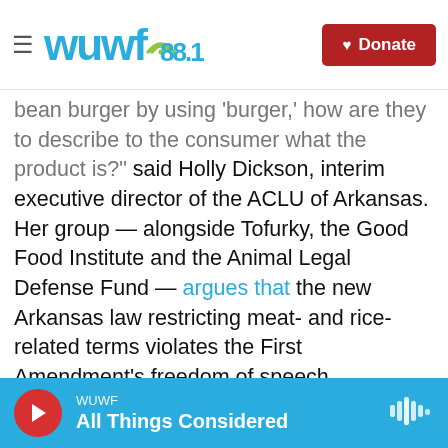WUWF 88.1 | Donate
bean burger by using 'burger,' how are they to describe to the consumer what the product is?" said Holly Dickson, interim executive director of the ACLU of Arkansas. Her group — alongside Tofurky, the Good Food Institute and the Animal Legal Defense Fund — argues that the new Arkansas law restricting meat- and rice-related terms violates the First Amendment's freedom of speech.
"This is not a law to protect consumers. Arkansans aren't confused about what a black bean or veggie burger or tofu dog are," Dickson said. "The law is really designed to allow the government to censor truthful speech and...
WUWF | All Things Considered